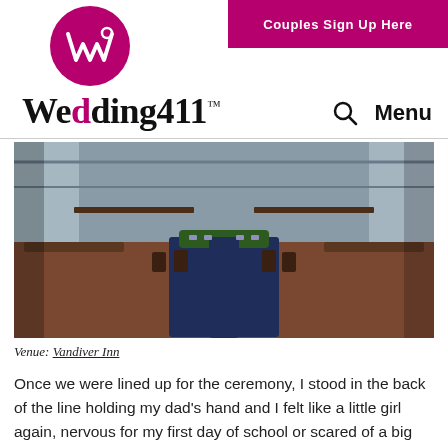Couples Sign Up Here
Wedding411™
[Figure (photo): Wedding reception venue interior showing long tables set with dark blue linens, greenery centerpieces, and wooden chairs on a brick floor with large windows in the background.]
Venue: Vandiver Inn
Once we were lined up for the ceremony, I stood in the back of the line holding my dad's hand and I felt like a little girl again, nervous for my first day of school or scared of a big roller coaster. As I